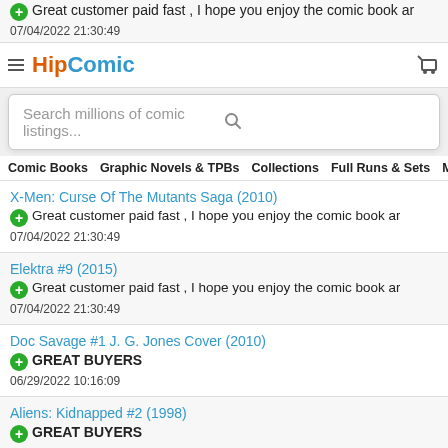HipComic
Search millions of comic listings...
Comic Books   Graphic Novels & TPBs   Collections   Full Runs & Sets   More Categ
Great customer paid fast , I hope you enjoy the comic book ar
07/04/2022 21:30:49
X-Men: Curse Of The Mutants Saga (2010)
Great customer paid fast , I hope you enjoy the comic book ar
07/04/2022 21:30:49
Elektra #9 (2015)
Great customer paid fast , I hope you enjoy the comic book ar
07/04/2022 21:30:49
Doc Savage #1 J. G. Jones Cover (2010)
GREAT BUYERS
06/29/2022 10:16:09
Aliens: Kidnapped #2 (1998)
GREAT BUYERS
06/29/2022 10:16:09
ALIENS SURVIVAL #1